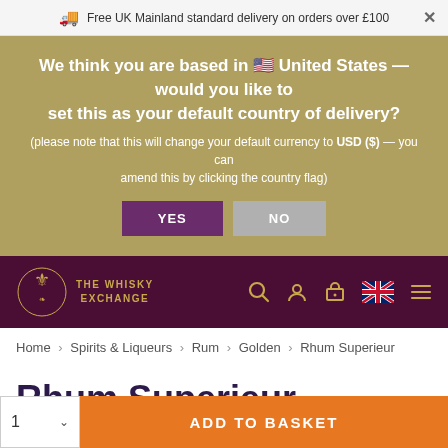Free UK Mainland standard delivery on orders over £100
We think you are based in 🇺🇸 United States — would you like to set this as your default country of delivery?
(please note that this will change your default currency to USD ($) — you can amend this by clicking the country flag)
YES
NO
[Figure (logo): The Whisky Exchange logo with emblem and text]
Home › Spirits & Liqueurs › Rum › Golden › Rhum Superieur
Rhum Superieur
Martinique Bot.1970s Litre
1  ADD TO BASKET